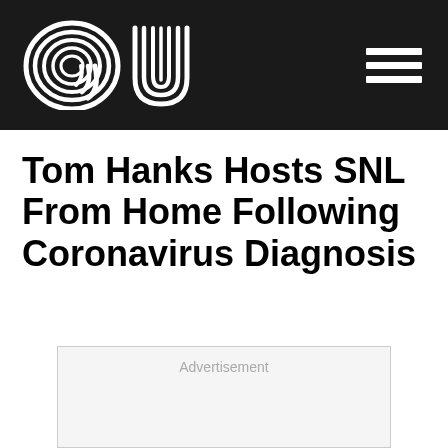au [logo] [hamburger menu]
Tom Hanks Hosts SNL From Home Following Coronavirus Diagnosis
[Figure (other): Advertisement placeholder box with light gray background and 'Advertisement' label text]